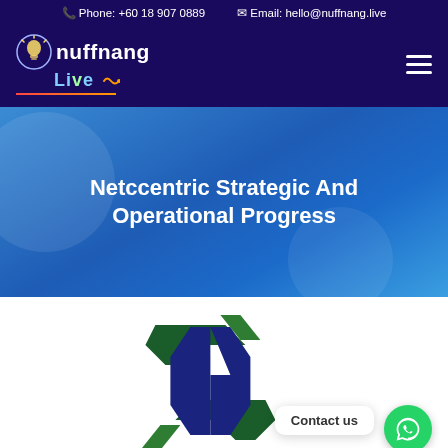Phone: +60 18 907 0889  Email: hello@nuffnang.live
[Figure (logo): Nuffnang Live logo with lightbulb icon, neon-style text in white and teal, with red-orange underline]
Netccentric Strategic And Operational Progress
[Figure (logo): Netccentric logo: dark green and navy blue arrows forming a stylized N shape]
Contact us